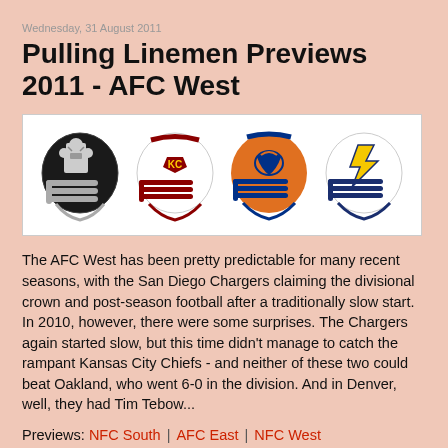Wednesday, 31 August 2011
Pulling Linemen Previews 2011 - AFC West
[Figure (photo): Four NFL AFC West team helmets: Oakland Raiders (black), Kansas City Chiefs (white/red), Denver Broncos (orange/blue), San Diego Chargers (white/navy/gold)]
The AFC West has been pretty predictable for many recent seasons, with the San Diego Chargers claiming the divisional crown and post-season football after a traditionally slow start. In 2010, however, there were some surprises. The Chargers again started slow, but this time didn't manage to catch the rampant Kansas City Chiefs - and neither of these two could beat Oakland, who went 6-0 in the division. And in Denver, well, they had Tim Tebow...
Previews: NFC South | AFC East | NFC West